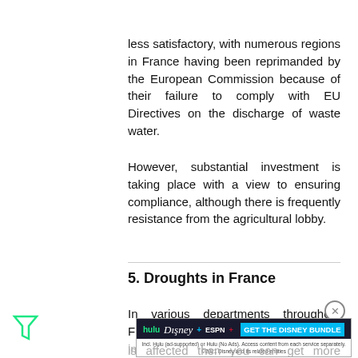less satisfactory, with numerous regions in France having been reprimanded by the European Commission because of their failure to comply with EU Directives on the discharge of waste water.
However, substantial investment is taking place with a view to ensuring compliance, although there is frequently resistance from the agricultural lobby.
5. Droughts in France
In various departments throughout France, there are often restrictions imposed on the use of water due to droughts. If you find that your department is affected then you can get more information by
[Figure (other): Hulu Disney+ ESPN+ advertisement banner: GET THE DISNEY BUNDLE]